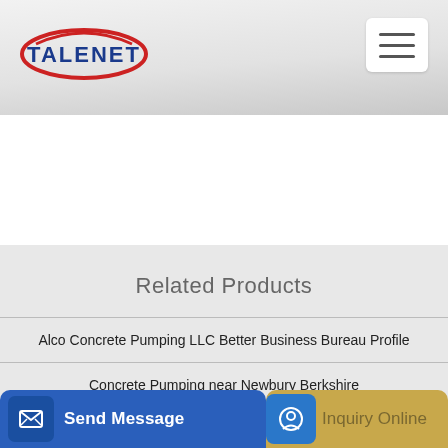[Figure (logo): TALENET logo with red ellipse accent and blue text]
Related Products
Alco Concrete Pumping LLC Better Business Bureau Profile
Concrete Pumping near Newbury Berkshire
[Figure (screenshot): Bottom navigation bar with Send Message button (blue) and Inquiry Online button (tan/gold)]